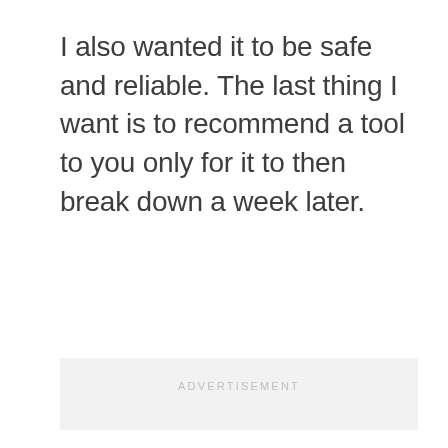I also wanted it to be safe and reliable. The last thing I want is to recommend a tool to you only for it to then break down a week later.
[Figure (other): Advertisement placeholder box with light gray background and 'ADVERTISEMENT' label text centered near top]